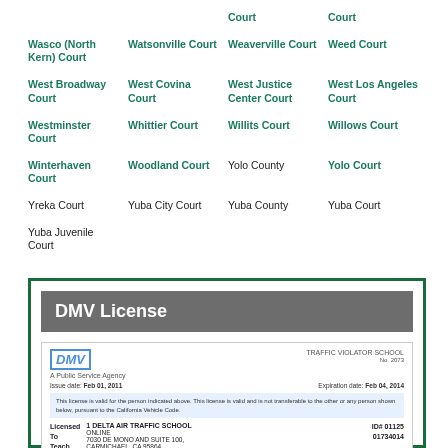Court  Court
Wasco (North Kern) Court
Watsonville Court
Weaverville Court
Weed Court
West Broadway Court
West Covina Court
West Justice Center Court
West Los Angeles Court
Westminster Court
Whittier Court
Willits Court
Willows Court
Winterhaven Court
Woodland Court
Yolo County
Yolo Court
Yreka Court
Yuba City Court
Yuba County
Yuba Court
Yuba Juvenile Court
DMV License
[Figure (photo): DMV Traffic Violator School license document showing DMV logo, school name, issue date, expiration date, and address details]